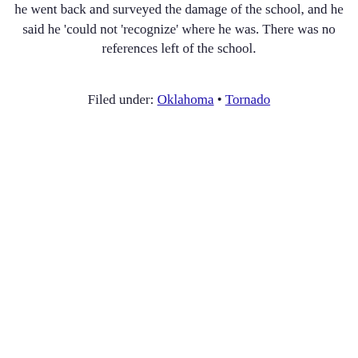he went back and surveyed the damage of the school, and he said he 'could not 'recognize' where he was. There was no references left of the school.
Filed under: Oklahoma • Tornado